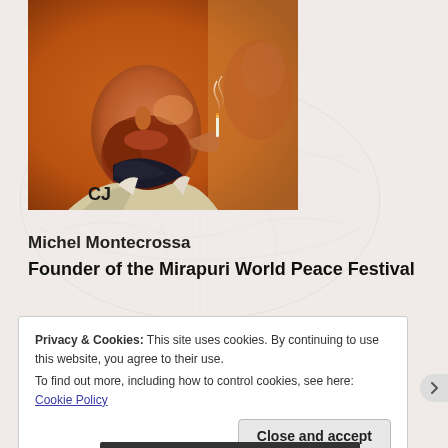[Figure (photo): Close-up photo of a bearded man with reddish beard, wearing a patterned scarf and jacket, photographed in warm orange lighting]
Michel Montecrossa
Founder of the Mirapuri World Peace Festival
Privacy & Cookies: This site uses cookies. By continuing to use this website, you agree to their use.
To find out more, including how to control cookies, see here: Cookie Policy
Close and accept